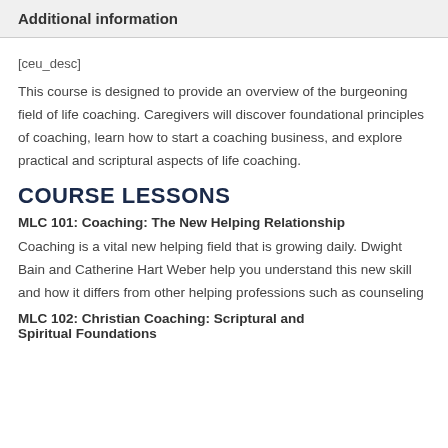Additional information
[ceu_desc]
This course is designed to provide an overview of the burgeoning field of life coaching. Caregivers will discover foundational principles of coaching, learn how to start a coaching business, and explore practical and scriptural aspects of life coaching.
COURSE LESSONS
MLC 101: Coaching: The New Helping Relationship
Coaching is a vital new helping field that is growing daily. Dwight Bain and Catherine Hart Weber help you understand this new skill and how it differs from other helping professions such as counseling
MLC 102: Christian Coaching: Scriptural and Spiritual Foundations